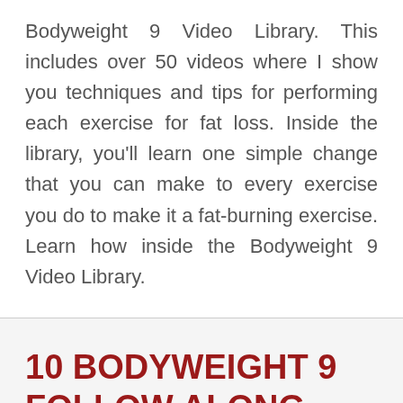Bodyweight 9 Video Library. This includes over 50 videos where I show you techniques and tips for performing each exercise for fat loss. Inside the library, you'll learn one simple change that you can make to every exercise you do to make it a fat-burning exercise. Learn how inside the Bodyweight 9 Video Library.
10 BODYWEIGHT 9 FOLLOW ALONG